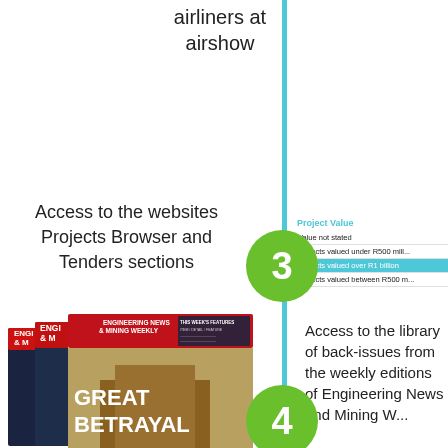airliners at airshow
Access to the websites Projects Browser and Tenders sections
[Figure (infographic): Green circle with number 3, part of a numbered list infographic with teal vertical line]
| Project Value |
| --- |
| Value not stated |
| Projects valued under R500 mill... |
| Projects valued over R1 billion |
| Projects valued between R500 m... |
[Figure (photo): Stack of Engineering News & Mining Weekly magazines showing 'GREAT BETRAYAL' cover]
[Figure (infographic): Green circle with number 4, part of a numbered list infographic with teal vertical line]
Access to the library of back-issues from the weekly editions of Engineering News and Mining W...